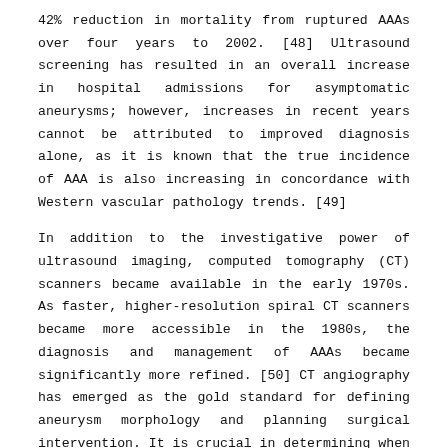42% reduction in mortality from ruptured AAAs over four years to 2002. [48] Ultrasound screening has resulted in an overall increase in hospital admissions for asymptomatic aneurysms; however, increases in recent years cannot be attributed to improved diagnosis alone, as it is known that the true incidence of AAA is also increasing in concordance with Western vascular pathology trends. [49]
In addition to the investigative power of ultrasound imaging, computed tomography (CT) scanners became available in the early 1970s. As faster, higher-resolution spiral CT scanners became more accessible in the 1980s, the diagnosis and management of AAAs became significantly more refined. [50] CT angiography has emerged as the gold standard for defining aneurysm morphology and planning surgical intervention. It is crucial in determining when emergent treatment is necessary, when calcification and soft tissue may be unstable, when the aortic wall is thickened or adhered to surrounding structures, and when rupture is imminent. [51] Overall operative mortality from ruptured AAA fell by 3.5% per decade from 1954-1997. [52] This